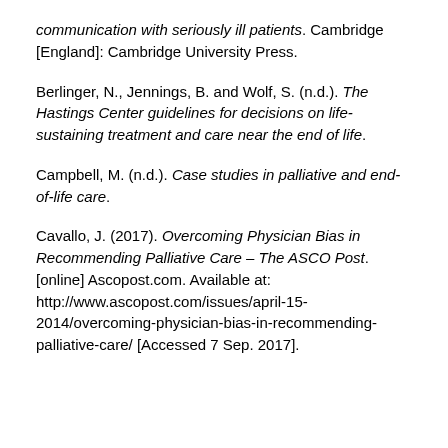communication with seriously ill patients. Cambridge [England]: Cambridge University Press.
Berlinger, N., Jennings, B. and Wolf, S. (n.d.). The Hastings Center guidelines for decisions on life-sustaining treatment and care near the end of life.
Campbell, M. (n.d.). Case studies in palliative and end-of-life care.
Cavallo, J. (2017). Overcoming Physician Bias in Recommending Palliative Care – The ASCO Post. [online] Ascopost.com. Available at: http://www.ascopost.com/issues/april-15-2014/overcoming-physician-bias-in-recommending-palliative-care/ [Accessed 7 Sep. 2017].